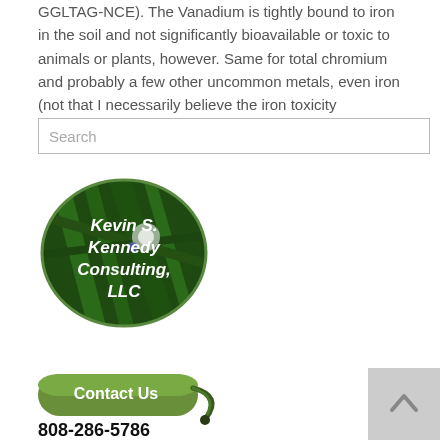GGLTAG-NCE). The Vanadium is tightly bound to iron in the soil and not significantly bioavailable or toxic to animals or plants, however. Same for total chromium and probably a few other uncommon metals, even iron (not that I necessarily believe the iron toxicity factors…)."
[Figure (screenshot): Search input box with placeholder text 'Search']
[Figure (logo): Kevin S. Kennedy Consulting, LLC oval logo with green background]
[Figure (illustration): Contact Us button with phone icon]
808-286-5786
[Figure (other): Scroll to top button with upward arrow]